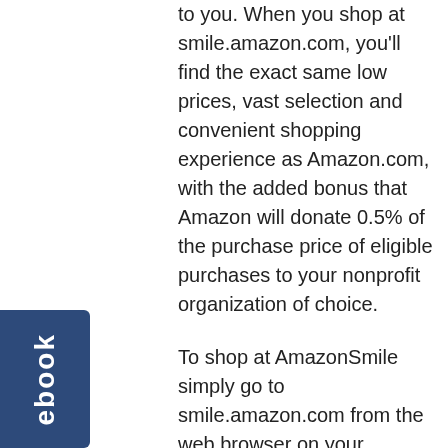to you. When you shop at smile.amazon.com, you'll find the exact same low prices, vast selection and convenient shopping experience as Amazon.com, with the added bonus that Amazon will donate 0.5% of the purchase price of eligible purchases to your nonprofit organization of choice.
To shop at AmazonSmile simply go to smile.amazon.com from the web browser on your computer or mobile device. You may also want to add a bookmark to AmazonSmile to make it even easier to return and start your shopping at AmazonSmile.
For your charity of choice, simply choose: Cause For Paws OHIO Chillocothe, OH
There are so many free and easy ways to support Cause For Paws...